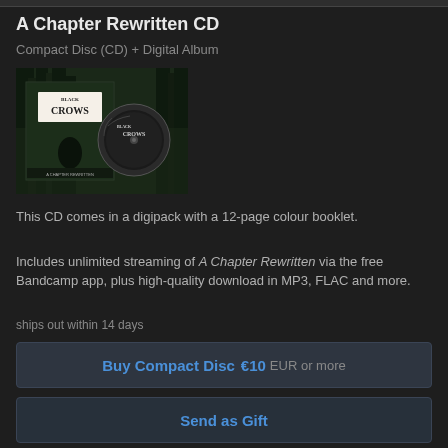A Chapter Rewritten CD
Compact Disc (CD) + Digital Album
[Figure (photo): Album artwork for 'A Chapter Rewritten' by Black Crows — CD case and disc displayed against a dark forest background]
This CD comes in a digipack with a 12-page colour booklet.
Includes unlimited streaming of A Chapter Rewritten via the free Bandcamp app, plus high-quality download in MP3, FLAC and more.
ships out within 14 days
Buy Compact Disc  €10 EUR or more
Send as Gift